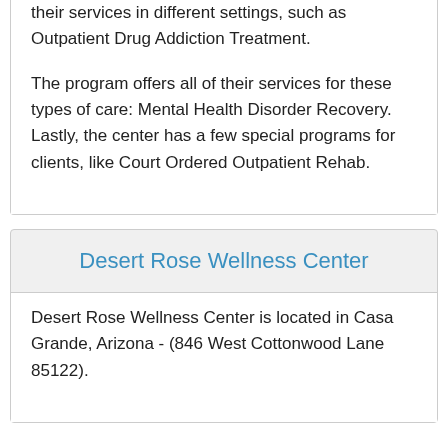their services in different settings, such as Outpatient Drug Addiction Treatment.
The program offers all of their services for these types of care: Mental Health Disorder Recovery. Lastly, the center has a few special programs for clients, like Court Ordered Outpatient Rehab.
Desert Rose Wellness Center
Desert Rose Wellness Center is located in Casa Grande, Arizona - (846 West Cottonwood Lane 85122).